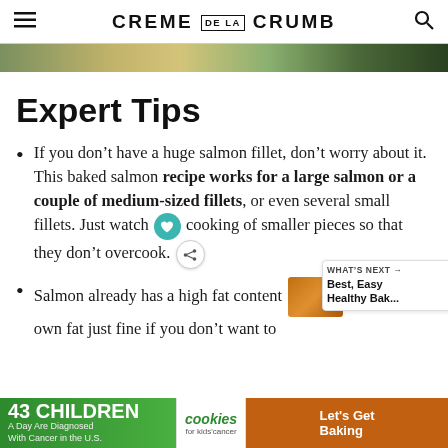CREME DE LA CRUMB
[Figure (photo): Top portion of a food photo showing a baked salmon dish with herbs and lemon]
Expert Tips
If you don't have a huge salmon fillet, don't worry about it. This baked salmon recipe works for a large salmon or a couple of medium-sized fillets, or even several small fillets. Just watch the cooking of smaller pieces so that they don't overcook.
Salmon already has a high fat content and can cook in its own fat just fine if you don't want to add oil to the pan. Somewhat redundant since it